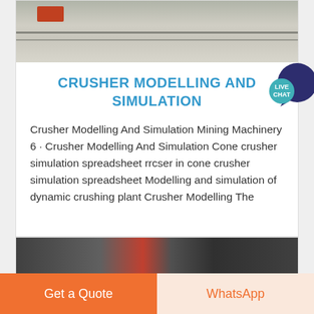[Figure (photo): Outdoor road or pavement scene, top portion of a card, partially cropped at top]
CRUSHER MODELLING AND SIMULATION
Crusher Modelling And Simulation Mining Machinery 6 · Crusher Modelling And Simulation Cone crusher simulation spreadsheet rrcser in cone crusher simulation spreadsheet Modelling and simulation of dynamic crushing plant Crusher Modelling The
[Figure (photo): Partial image of crusher machinery, bottom card, cropped]
Get a Quote
WhatsApp